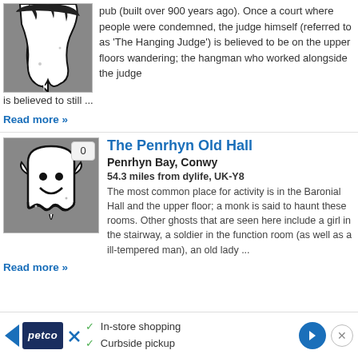[Figure (photo): Ghost image clipped at top, showing dark dripping shape on gray background]
pub (built over 900 years ago). Once a court where people were condemned, the judge himself (referred to as 'The Hanging Judge') is believed to be on the upper floors wandering; the hangman who worked alongside the judge is believed to still ...
Read more »
[Figure (illustration): Cartoon ghost illustration, white friendly ghost on gray background with badge showing 0]
The Penrhyn Old Hall
Penrhyn Bay, Conwy
54.3 miles from dylife, UK-Y8
The most common place for activity is in the Baronial Hall and the upper floor; a monk is said to haunt these rooms. Other ghosts that are seen here include a girl in the stairway, a soldier in the function room (as well as a ill-tempered man), an old lady ...
Read more »
[Figure (screenshot): Petco advertisement banner with in-store shopping and curbside pickup text]